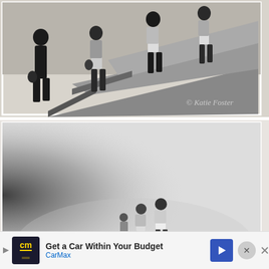[Figure (photo): Black and white photograph of several people standing on or near large concrete or wooden stairs/steps structure. People are silhouetted or semi-silhouetted. A watermark reads '© Katie Foster' in the lower right.]
[Figure (photo): Black and white photograph with a misty/foggy atmosphere. Three small figures of people are visible in the lower center of the frame against a very light, almost white background. The left side has a dark gradient.]
Get a Car Within Your Budget
CarMax